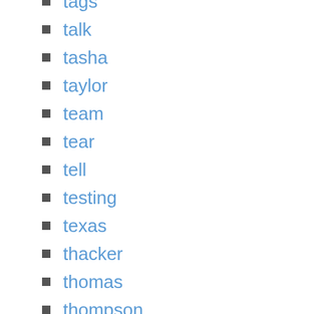tags
talk
tasha
taylor
team
tear
tell
testing
texas
thacker
thomas
thompson
thredup
tobias
tods
topquality
topshop
tory
tote
traceability
transparency
trendy
true